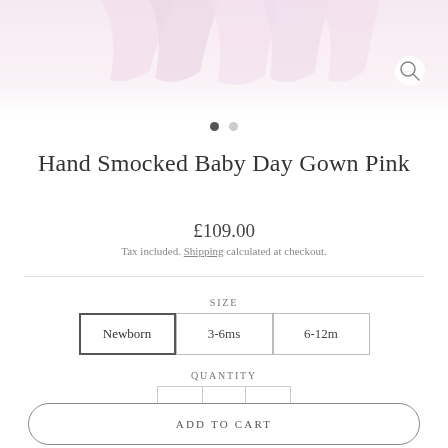[Figure (photo): Partial view of a pink hand smocked baby day gown, showing the skirt/bottom portion of the garment]
Hand Smocked Baby Day Gown Pink
£109.00
Tax included. Shipping calculated at checkout.
SIZE
Newborn  3-6ms  6-12m
QUANTITY
1
ADD TO CART